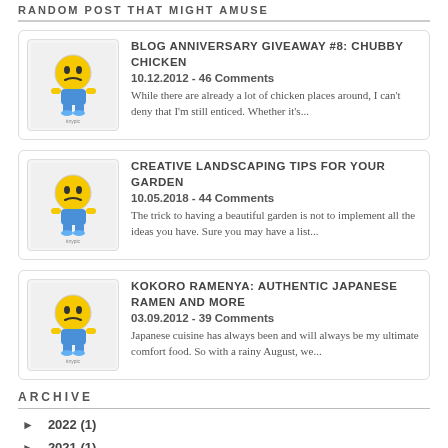RANDOM POST THAT MIGHT AMUSE
BLOG ANNIVERSARY GIVEAWAY #8: CHUBBY CHICKEN
10.12.2012 - 46 Comments
While there are already a lot of chicken places around, I can't deny that I'm still enticed. Whether it's...
CREATIVE LANDSCAPING TIPS FOR YOUR GARDEN
10.05.2018 - 44 Comments
The trick to having a beautiful garden is not to implement all the ideas you have. Sure you may have a list...
KOKORO RAMENYA: AUTHENTIC JAPANESE RAMEN AND MORE
03.09.2012 - 39 Comments
Japanese cuisine has always been and will always be my ultimate comfort food. So with a rainy August, we...
ARCHIVE
► 2022 (1)
► 2021 (1)
► 2020 (3)